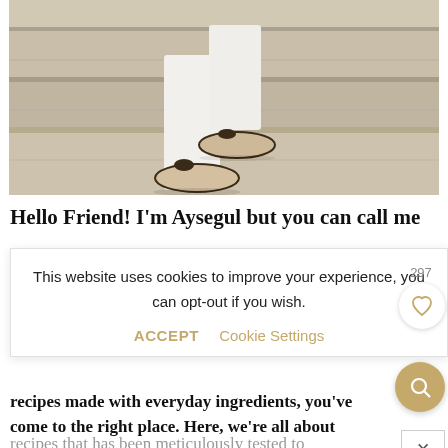[Figure (photo): Photo of woman's legs in white pants wearing beige ballet flats with dark bow detail, standing on stone steps]
Hello Friend! I'm Aysegul but you can call me
This website uses cookies to improve your experience, you can opt-out if you wish.
ACCEPT   Cookie Settings
recipes made with everyday ingredients, you've come to the right place. Here, we're all about
recipes that has been meticulously tested to